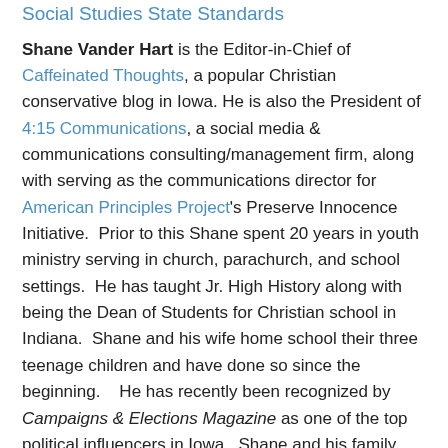Social Studies State Standards
Shane Vander Hart is the Editor-in-Chief of Caffeinated Thoughts, a popular Christian conservative blog in Iowa. He is also the President of 4:15 Communications, a social media & communications consulting/management firm, along with serving as the communications director for American Principles Project's Preserve Innocence Initiative.  Prior to this Shane spent 20 years in youth ministry serving in church, parachurch, and school settings.  He has taught Jr. High History along with being the Dean of Students for Christian school in Indiana.  Shane and his wife home school their three teenage children and have done so since the beginning.   He has recently been recognized by Campaigns & Elections Magazine as one of the top political influencers in Iowa.  Shane and his family reside near Des Moines, IA.  You